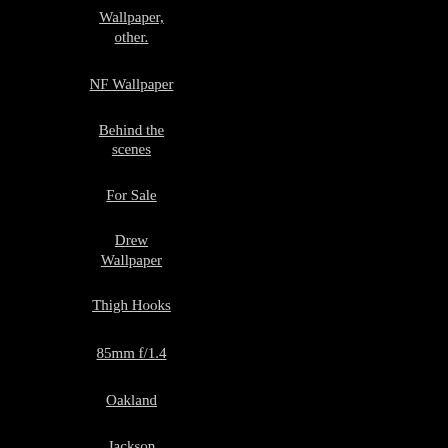Wallpaper, other.
NF Wallpaper
Behind the scenes
For Sale
Drew Wallpaper
Thigh Hooks
85mm f/1.4
Oakland
Jackson Wallpaper
Headed Home
Rwenzori Four